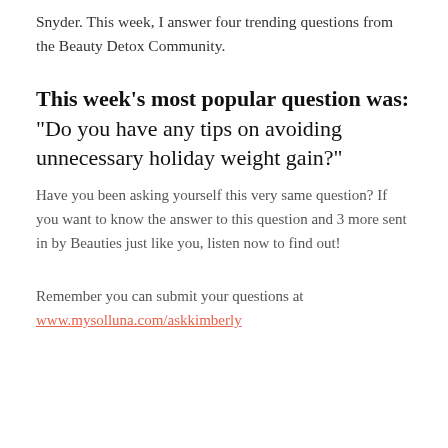Snyder. This week, I answer four trending questions from the Beauty Detox Community.
This week’s most popular question was: “Do you have any tips on avoiding unnecessary holiday weight gain?”
Have you been asking yourself this very same question? If you want to know the answer to this question and 3 more sent in by Beauties just like you, listen now to find out!
Remember you can submit your questions at www.mysolluna.com/askkimberly